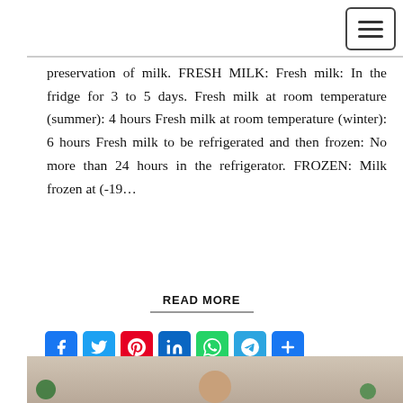preservation of milk. FRESH MILK: Fresh milk: In the fridge for 3 to 5 days. Fresh milk at room temperature (summer): 4 hours Fresh milk at room temperature (winter): 6 hours Fresh milk to be refrigerated and then frozen: No more than 24 hours in the refrigerator. FROZEN: Milk frozen at (-19…
READ MORE
[Figure (other): Social media share icons: Facebook, Twitter, Pinterest, LinkedIn, WhatsApp, Telegram, and a plus/more button]
[Figure (photo): Bottom strip showing a person (head visible) with green plants/bokeh in background]